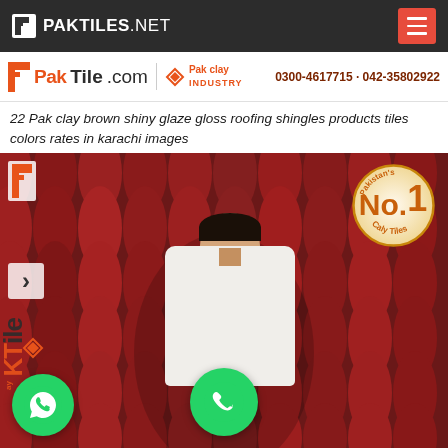PAKTILES.NET
[Figure (logo): PakTile.com header with Pak Clay Industry logo and phone numbers: 0300-4617715 · 042-35802922]
22 Pak clay brown shiny glaze gloss roofing shingles products tiles colors rates in karachi images
[Figure (photo): A man in white shalwar kameez sitting in front of a wall of dark red/brown clay roofing shingles tiles. Pakistan's No.1 Caly Tiles badge in top right corner. WhatsApp and phone call green circle buttons at bottom. PakTile.com vertical watermark on left side.]